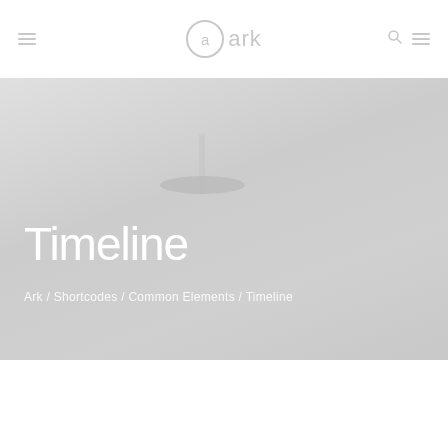a ark
Timeline
Ark / Shortcodes / Common Elements / Timeline